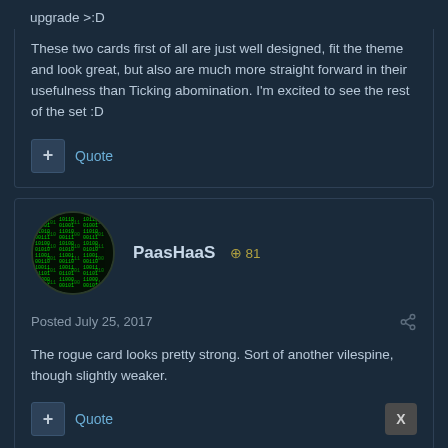upgrade >:D
These two cards first of all are just well designed, fit the theme and look great, but also are much more straight forward in their usefulness than Ticking abomination. I'm excited to see the rest of the set :D
PaasHaaS  ⊕ 81
Posted July 25, 2017
The rogue card looks pretty strong. Sort of another vilespine, though slightly weaker.